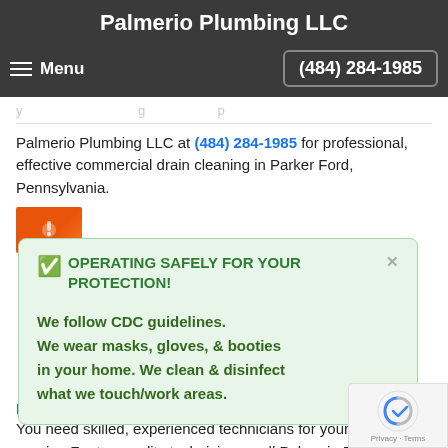Palmerio Plumbing LLC
Menu   (484) 284-1985
Palmerio Plumbing LLC at (484) 284-1985 for professional, effective commercial drain cleaning in Parker Ford, Pennsylvania.
[Figure (photo): Small thumbnail photo with orange/red tones, partially visible]
OPERATING SAFELY FOR YOUR PROTECTION! We follow CDC guidelines. We wear masks, gloves, & booties in your home. We clean & disinfect what we touch/work areas.
Parker Ford Sewer Repair
You need skilled, experienced technicians for your sewer repairs. For top quality technicians, call Palmerio Plumbing